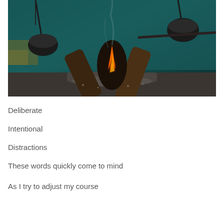[Figure (photo): A campfire scene with glowing orange embers between logs, dark atmospheric background with teal/green hues, hanging cast iron cauldrons/pots suspended from a pole in the background.]
Deliberate
Intentional
Distractions
These words quickly come to mind
As I try to adjust my course